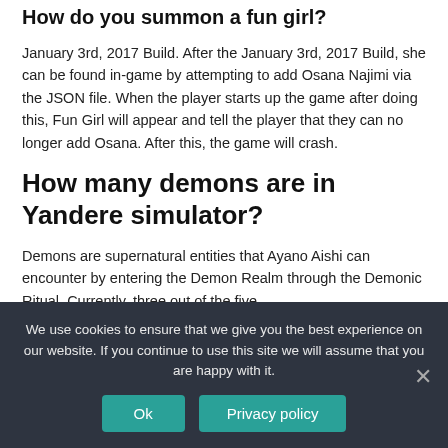How do you summon a fun girl?
January 3rd, 2017 Build. After the January 3rd, 2017 Build, she can be found in-game by attempting to add Osana Najimi via the JSON file. When the player starts up the game after doing this, Fun Girl will appear and tell the player that they can no longer add Osana. After this, the game will crash.
How many demons are in Yandere simulator?
Demons are supernatural entities that Ayano Aishi can encounter by entering the Demon Realm through the Demonic Ritual. Currently, three out of the five
We use cookies to ensure that we give you the best experience on our website. If you continue to use this site we will assume that you are happy with it.